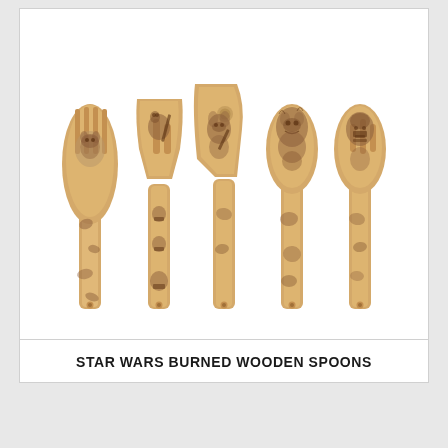[Figure (photo): Five wooden kitchen utensils (spoons, spatulas, fork) with Star Wars character burn designs including Yoda, lightsaber characters, Princess Leia, Chewbacca, and Darth Vader imagery etched into the bamboo wood.]
STAR WARS BURNED WOODEN SPOONS